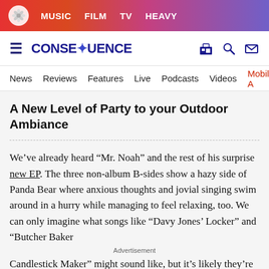MUSIC  FILM  TV  HEAVY
CONSEQUENCE
News  Reviews  Features  Live  Podcasts  Videos  Mobile A
A New Level of Party to your Outdoor Ambiance
We've already heard “Mr. Noah” and the rest of his surprise new EP. The three non-album B-sides show a hazy side of Panda Bear where anxious thoughts and jovial singing swim around in a hurry while managing to feel relaxing, too. We can only imagine what songs like “Davy Jones’ Locker” and “Butcher Baker Candlestick Maker” might sound like, but it’s likely they’re just as trippy and dark as they sound. –Nina Corcoran
Advertisement